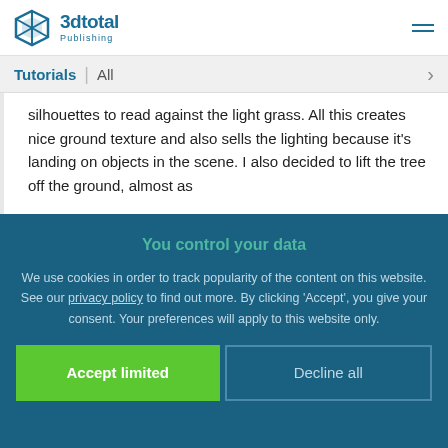3dtotal Publishing
Tutorials | All
silhouettes to read against the light grass. All this creates nice ground texture and also sells the lighting because it's landing on objects in the scene. I also decided to lift the tree off the ground, almost as
You control your data
We use cookies in order to track popularity of the content on this website. See our privacy policy to find out more. By clicking 'Accept', you give your consent. Your preferences will apply to this website only.
Accept limited | Decline all